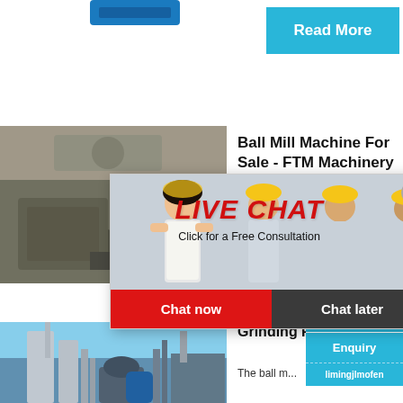[Figure (photo): Blue machine equipment top portion visible at top of page]
Read More
[Figure (photo): Ball mill machine processing gravel/aggregate — industrial grinding equipment]
Ball Mill Machine For Sale - FTM Machinery
[Figure (photo): Live chat overlay with workers in yellow hard hats smiling. Shows LIVE CHAT heading, 'Click for a Free Consultation', Chat now and Chat later buttons]
hour online
[Figure (photo): Industrial crusher/mill machine on right sidebar]
Click me to chat>>
Enquiry
limingjlmofen
[Figure (photo): Grinding mill industrial plant with silos and equipment]
Grinding Process
The ball m...